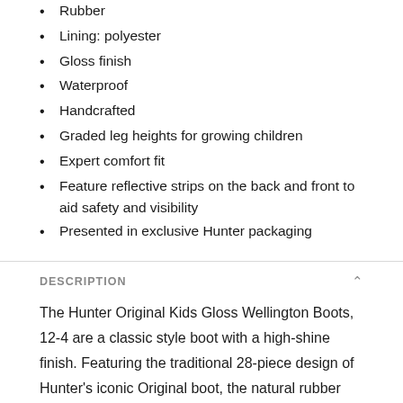Rubber
Lining: polyester
Gloss finish
Waterproof
Handcrafted
Graded leg heights for growing children
Expert comfort fit
Feature reflective strips on the back and front to aid safety and visibility
Presented in exclusive Hunter packaging
DESCRIPTION
The Hunter Original Kids Gloss Wellington Boots, 12-4 are a classic style boot with a high-shine finish. Featuring the traditional 28-piece design of Hunter's iconic Original boot, the natural rubber construction creates a comfortable fit for this welly style. The boots have leg heights that are graded to fit growing children. They are available in a wide selection of fun colours and have